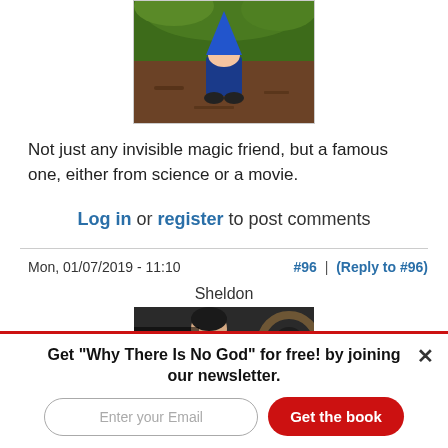[Figure (photo): A garden gnome figurine among green plants and mulch, partially cut off at the top]
Not just any invisible magic friend, but a famous one, either from science or a movie.
Log in or register to post comments
Mon, 01/07/2019 - 11:10   #96 | (Reply to #96)
Sheldon
[Figure (photo): A TV character (Sheldon) with text overlay reading 'I'm right you're']
Get "Why There Is No God" for free! by joining our newsletter.